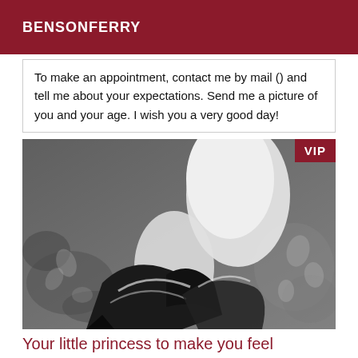BENSONFERRY
To make an appointment, contact me by mail () and tell me about your expectations. Send me a picture of you and your age. I wish you a very good day!
[Figure (photo): Black and white photo of a person's legs wearing high-heeled shoes, lying on a floral-patterned fabric background. A VIP badge appears in the top right corner.]
Your little princess to make you feel